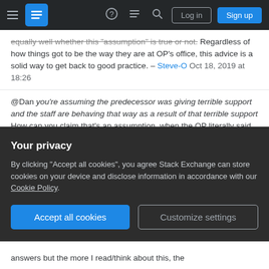Stack Exchange navigation bar with hamburger menu, logo, icons, Log in and Sign up buttons
equally well whether this "assumption" is true or not. Regardless of how things got to be the way they are at OP's office, this advice is a solid way to get back to good practice. – Steve-O Oct 18, 2019 at 18:26
@Dan you're assuming the predecessor was giving terrible support and the staff are behaving that way as a result of that terrible support How can you claim that's an assumption, when the OP literally said, users are used to a terrible support from my predecessor. Tickets were not handled at all anymore, so some of them just call and call nonstop It seems clear that the OP was stating that users called nonstop because of the previously poor support. I appreciate you giving
Your privacy
By clicking "Accept all cookies", you agree Stack Exchange can store cookies on your device and disclose information in accordance with our Cookie Policy.
Accept all cookies   Customize settings
answers but the more I read/think about this, the